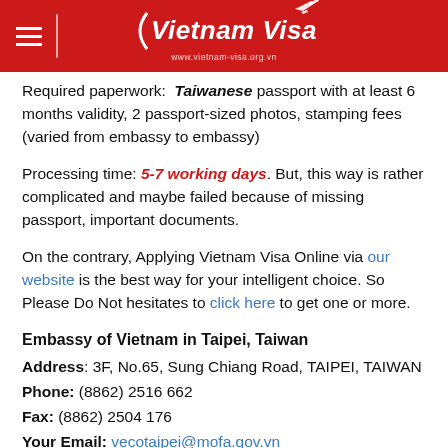Vietnam Visa — www.vietnam-visa.org.vn
Required paperwork: Taiwanese passport with at least 6 months validity, 2 passport-sized photos, stamping fees (varied from embassy to embassy)
Processing time: 5-7 working days. But, this way is rather complicated and maybe failed because of missing passport, important documents.
On the contrary, Applying Vietnam Visa Online via our website is the best way for your intelligent choice. So Please Do Not hesitates to click here to get one or more.
Embassy of Vietnam in Taipei, Taiwan
Address: 3F, No.65, Sung Chiang Road, TAIPEI, TAIWAN
Phone: (8862) 2516 662
Fax: (8862) 2504 176
Your Email: vecotaipei@mofa.gov.vn